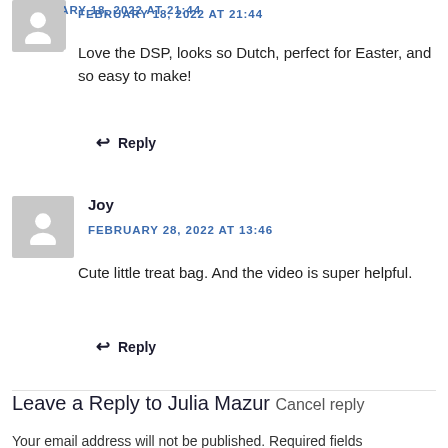FEBRUARY 18, 2022 AT 21:44
Love the DSP, looks so Dutch, perfect for Easter, and so easy to make!
Reply
Joy
FEBRUARY 28, 2022 AT 13:46
Cute little treat bag. And the video is super helpful.
Reply
Leave a Reply to Julia Mazur Cancel reply
Your email address will not be published. Required fields